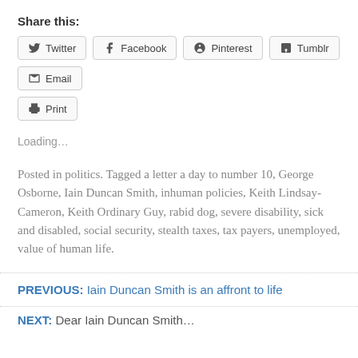Share this:
Twitter
Facebook
Pinterest
Tumblr
Email
Print
Loading…
Posted in politics. Tagged a letter a day to number 10, George Osborne, Iain Duncan Smith, inhuman policies, Keith Lindsay-Cameron, Keith Ordinary Guy, rabid dog, severe disability, sick and disabled, social security, stealth taxes, tax payers, unemployed, value of human life.
PREVIOUS: Iain Duncan Smith is an affront to life
NEXT: Dear Iain Duncan Smith…